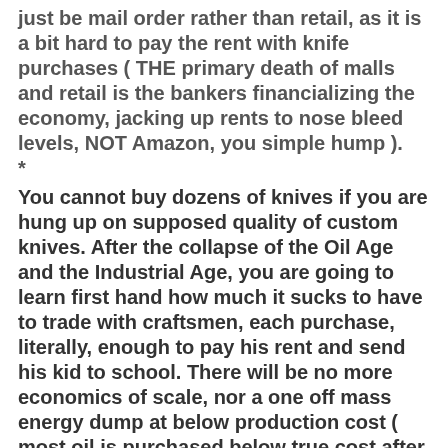just be mail order rather than retail, as it is a bit hard to pay the rent with knife purchases ( THE primary death of malls and retail is the bankers financializing the economy, jacking up rents to nose bleed levels, NOT Amazon, you simple hump ).
*
You cannot buy dozens of knives if you are hung up on supposed quality of custom knives. After the collapse of the Oil Age and the Industrial Age, you are going to learn first hand how much it sucks to have to trade with craftsmen, each purchase, literally, enough to pay his rent and send his kid to school. There will be no more economics of scale, nor a one off mass energy dump at below production cost ( most oil is purchased below true cost after the military is factored in. WAY below if the cost of all past wars over oil is calculated. This is why your dumb ass